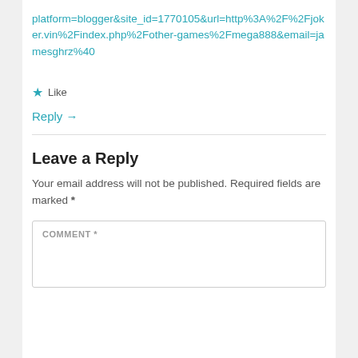platform=blogger&site_id=1770105&url=http%3A%2F%2Fjoker.vin%2Findex.php%2Fother-games%2Fmega888&email=jamesghrz%40
★ Like
Reply →
Leave a Reply
Your email address will not be published. Required fields are marked *
COMMENT *